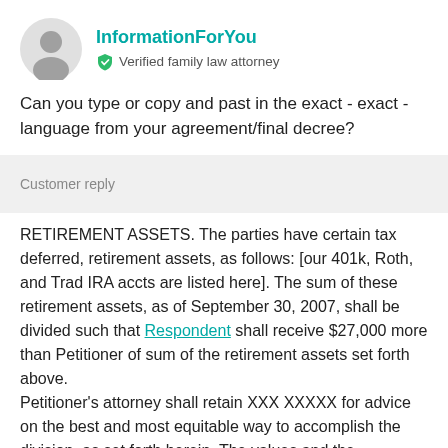InformationForYou
Verified family law attorney
Can you type or copy and past in the exact - exact - language from your agreement/final decree?
Customer reply
RETIREMENT ASSETS. The parties have certain tax deferred, retirement assets, as follows: [our 401k, Roth, and Trad IRA accts are listed here]. The sum of these retirement assets, as of September 30, 2007, shall be divided such that Respondent shall receive $27,000 more than Petitioner of sum of the retirement assets set forth above.
Petitioner's attorney shall retain XXX XXXXX for advice on the best and most equitable way to accomplish the division, as set forth herein. The values and the